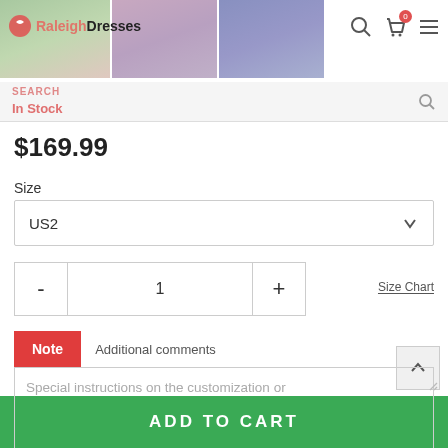[Figure (screenshot): E-commerce product page header with logo RaleighDresses, product thumbnail images (green, mauve, blue dress photos), search icon, cart icon with badge 0, hamburger menu]
In Stock
$169.99
Size
US2
1
Size Chart
Note   Additional comments
Special instructions on the customization or handling (optional)
ADD TO CART